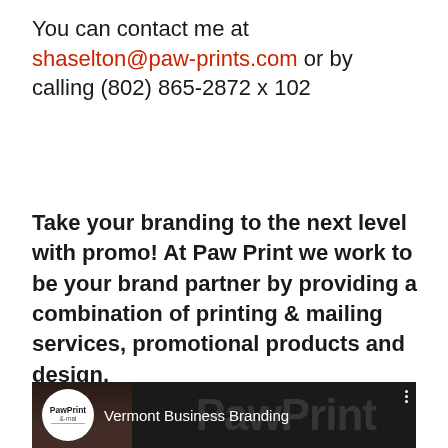You can contact me at shaselton@paw-prints.com or by calling (802) 865-2872 x 102
Take your branding to the next level with promo! At Paw Print we work to be your brand partner by providing a combination of printing & mailing services, promotional products and design.
[Figure (screenshot): Video thumbnail showing PawPrint Email logo and Vermont Business Branding title over a dark background with a person visible and large PawPrint watermark text]